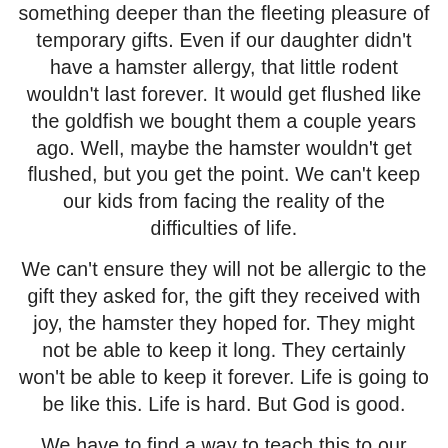something deeper than the fleeting pleasure of temporary gifts. Even if our daughter didn't have a hamster allergy, that little rodent wouldn't last forever. It would get flushed like the goldfish we bought them a couple years ago. Well, maybe the hamster wouldn't get flushed, but you get the point. We can't keep our kids from facing the reality of the difficulties of life.
We can't ensure they will not be allergic to the gift they asked for, the gift they received with joy, the hamster they hoped for. They might not be able to keep it long. They certainly won't be able to keep it forever. Life is going to be like this. Life is hard. But God is good.
We have to find a way to teach this to our